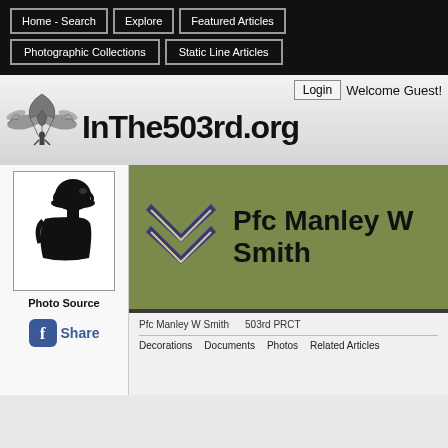Home - Search | Explore | Featured Articles | Photographic Collections | Static Line Articles
[Figure (logo): InThe503rd.org website logo with airborne wings insignia]
Login  Welcome Guest!
InThe503rd.org
[Figure (photo): Soldier silhouette profile photo placeholder]
Photo Source
Share
[Figure (illustration): PFC rank chevron insignia (two stripes, navy/cream)]
Pfc Manley W Smith
Pfc Manley W Smith    503rd PRCT
Decorations    Documents    Photos    Related Articles